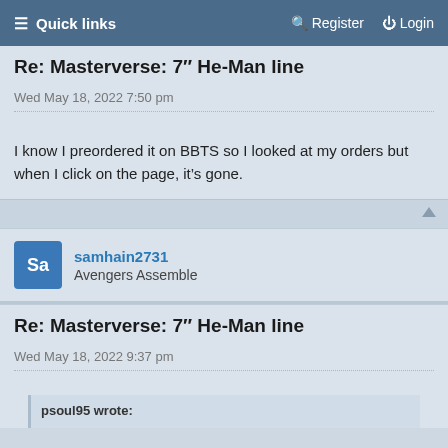≡ Quick links   🔍 Register   ⏻ Login
Re: Masterverse: 7″ He-Man line
Wed May 18, 2022 7:50 pm
I know I preordered it on BBTS so I looked at my orders but when I click on the page, it's gone.
samhain2731
Avengers Assemble
Re: Masterverse: 7″ He-Man line
Wed May 18, 2022 9:37 pm
psoul95 wrote: